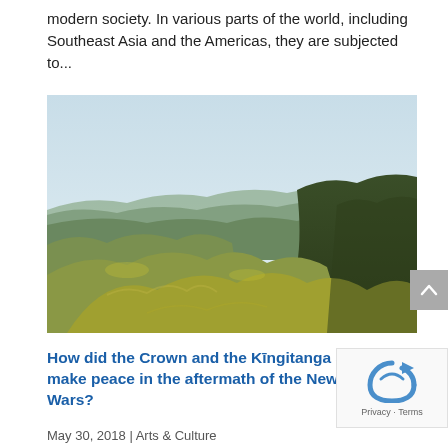modern society. In various parts of the world, including Southeast Asia and the Americas, they are subjected to...
[Figure (photo): Aerial photograph of rolling green hills and valleys in New Zealand landscape under a clear sky]
How did the Crown and the Kīngitanga attempt to make peace in the aftermath of the New Zealand Wars?
May 30, 2018 | Arts & Culture